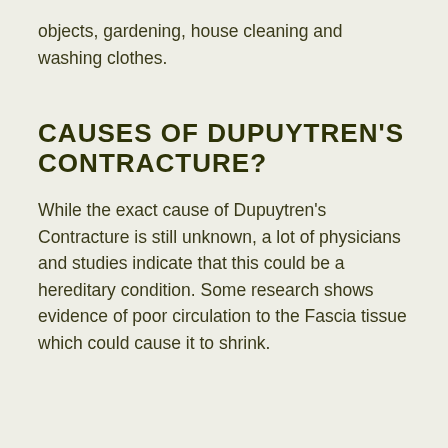objects, gardening, house cleaning and washing clothes.
CAUSES OF DUPUYTREN'S CONTRACTURE?
While the exact cause of Dupuytren's Contracture is still unknown, a lot of physicians and studies indicate that this could be a hereditary condition. Some research shows evidence of poor circulation to the Fascia tissue which could cause it to shrink.